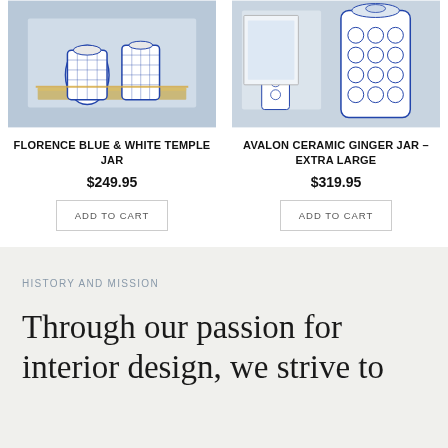[Figure (photo): Blue and white ceramic temple jars on a gold mirrored tray]
FLORENCE BLUE & WHITE TEMPLE JAR
$249.95
[Figure (photo): Blue and white Avalon ceramic ginger jar, extra large, with decorative items]
AVALON CERAMIC GINGER JAR – EXTRA LARGE
$319.95
HISTORY AND MISSION
Through our passion for interior design, we strive to